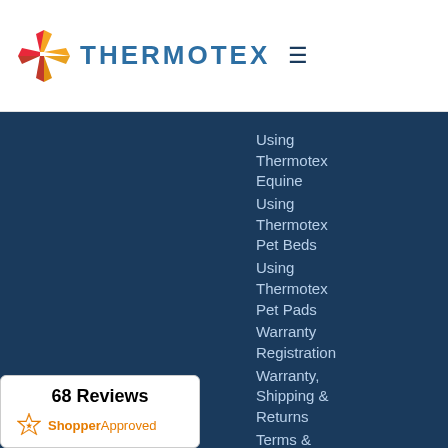THERMOTEX
Using Thermotex Equine
Using Thermotex Pet Beds
Using Thermotex Pet Pads
Warranty Registration
Warranty, Shipping & Returns
Terms & Privacy Policy
68 Reviews
ShopperApproved